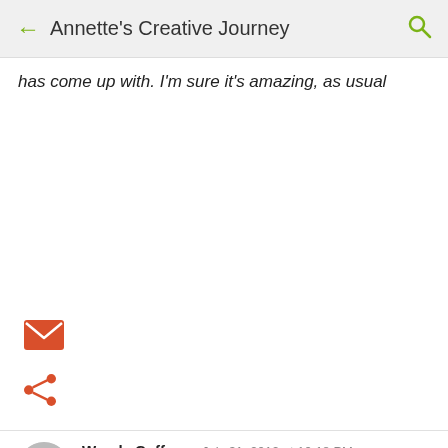Annette's Creative Journey
has come up with. I'm sure it's amazing, as usual
[Figure (infographic): Orange envelope/email icon]
[Figure (infographic): Orange share icon]
Wendy Coffman  July 31, 2012 at 10:18 PM
Pretty! Thanks for sharing!